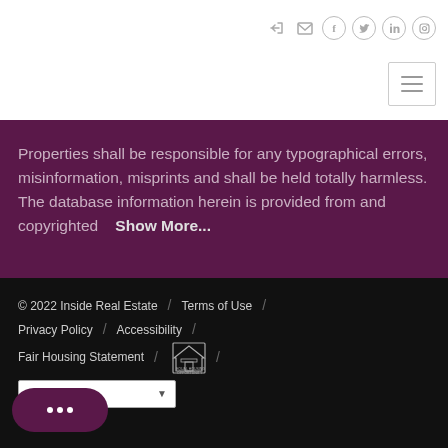Navigation icons and hamburger menu
Properties shall be responsible for any typographical errors, misinformation, misprints and shall be held totally harmless. The database information herein is provided from and copyrighted   Show More...
© 2022 Inside Real Estate / Terms of Use / Privacy Policy / Accessibility / Fair Housing Statement / [Equal Housing Logo] / Language selector